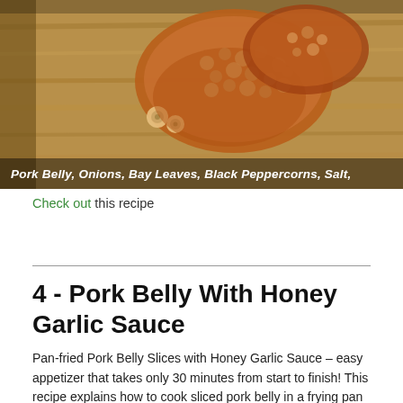[Figure (photo): Photo of pork belly pieces on a wooden cutting board, with text overlay listing ingredients: Pork Belly, Onions, Bay Leaves, Black Peppercorns, Salt,]
Check out this recipe
4 - Pork Belly With Honey Garlic Sauce
Pan-fried Pork Belly Slices with Honey Garlic Sauce – easy appetizer that takes only 30 minutes from start to finish! This recipe explains how to cook sliced pork belly in a frying pan until crispy and browned. No need to turn on the oven.